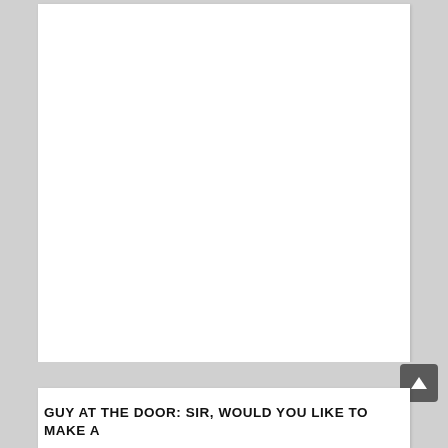[Figure (other): Large white blank rectangular card/image placeholder on a gray background]
GUY AT THE DOOR: SIR, WOULD YOU LIKE TO MAKE A